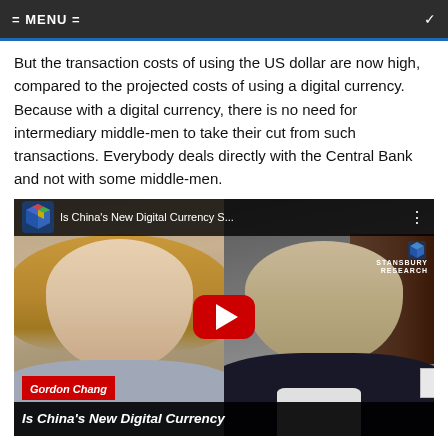= MENU =
But the transaction costs of using the US dollar are now high, compared to the projected costs of using a digital currency. Because with a digital currency, there is no need for intermediary middle-men to take their cut from such transactions. Everybody deals directly with the Central Bank and not with some middle-men.
[Figure (screenshot): YouTube video thumbnail showing two people in a split screen. Left side shows a woman with blonde hair. Right side shows a man in a dark jacket. Title reads 'Is China's New Digital Currency S...' with a red play button in the center. Bottom name tag reads 'Gordon Chang'. Bottom title bar reads 'Is China's New Digital Currency'. Stansbury Research logo visible in top right.]